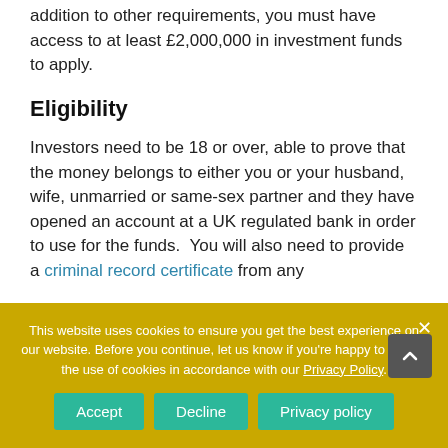addition to other requirements, you must have access to at least £2,000,000 in investment funds to apply.
Eligibility
Investors need to be 18 or over, able to prove that the money belongs to either you or your husband, wife, unmarried or same-sex partner and they have opened an account at a UK regulated bank in order to use for the funds.  You will also need to provide a criminal record certificate from any
This website uses cookies to ensure you get the best experience on our website. Before you continue, let us know if you're happy to accept the use of cookies in accordance with our Privacy Policy.